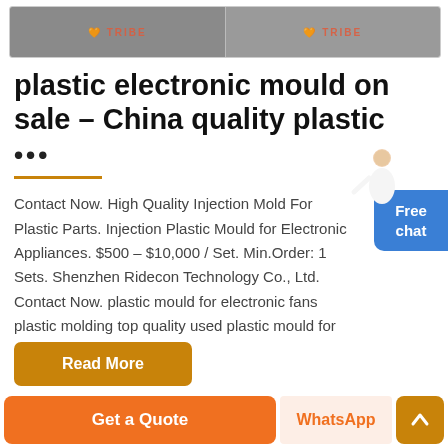[Figure (photo): Two product/factory images side by side with TRIBE logo watermarks in orange]
plastic electronic mould on sale - China quality plastic
•••
Contact Now. High Quality Injection Mold For Plastic Parts. Injection Plastic Mould for Electronic Appliances. $500 - $10,000 / Set. Min.Order: 1 Sets. Shenzhen Ridecon Technology Co., Ltd. Contact Now. plastic mould for electronic fans plastic molding top quality used plastic mould for sales.
Read More
Get a Quote
WhatsApp